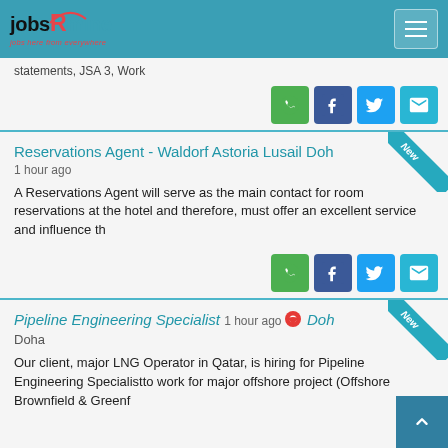jobsRmine — jobs here from everywhere
statements, JSA 3, Work
[Figure (infographic): Social share buttons: WhatsApp (green), Facebook (navy), Twitter (blue), Email (teal)]
Reservations Agent - Waldorf Astoria Lusail Doha
1 hour ago
A Reservations Agent will serve as the main contact for room reservations at the hotel and therefore, must offer an excellent service and influence th
[Figure (infographic): Social share buttons: WhatsApp (green), Facebook (navy), Twitter (blue), Email (teal)]
Pipeline Engineering Specialist
1 hour ago  Doha
Doha
Our client, major LNG Operator in Qatar, is hiring for Pipeline Engineering Specialistto work for major offshore project (Offshore Brownfield & Greenf